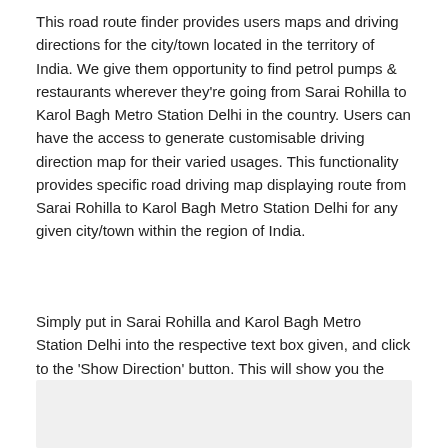This road route finder provides users maps and driving directions for the city/town located in the territory of India. We give them opportunity to find petrol pumps & restaurants wherever they're going from Sarai Rohilla to Karol Bagh Metro Station Delhi in the country. Users can have the access to generate customisable driving direction map for their varied usages. This functionality provides specific road driving map displaying route from Sarai Rohilla to Karol Bagh Metro Station Delhi for any given city/town within the region of India.
Simply put in Sarai Rohilla and Karol Bagh Metro Station Delhi into the respective text box given, and click to the 'Show Direction' button. This will show you the route map of the best Sarai Rohilla to Karol Bagh Metro Station Delhi road-route between the two places of your selected locations. Further, we aim to improve our services for the users. We value your feedback.
[Figure (other): Gray placeholder box at bottom of page]